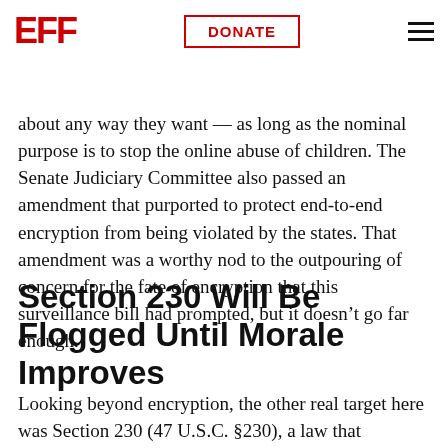EFF | DONATE
wide berth to legislatures in all 50 states, as well as agencies, to regulate the internet in just about any way they want — as long as the nominal purpose is to stop the online abuse of children. The Senate Judiciary Committee also passed an amendment that purported to protect end-to-end encryption from being violated by the states. That amendment was a worthy nod to the outpouring of concern for the fate of encryption that this surveillance bill had prompted, but it doesn't go far enough.
Section 230 Will Be Flogged Until Morale Improves
Looking beyond encryption, the other real target here was Section 230 (47 U.S.C. §230), a law that